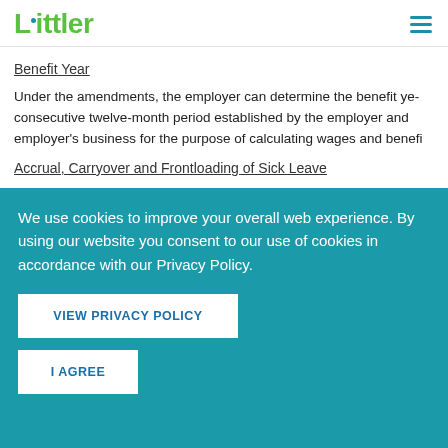Littler
Benefit Year
Under the amendments, the employer can determine the benefit ye... consecutive twelve-month period established by the employer and employer's business for the purpose of calculating wages and benefi...
Accrual, Carryover and Frontloading of Sick Leave
We use cookies to improve your overall web experience. By using our website you consent to our use of cookies in accordance with our Privacy Policy.
VIEW PRIVACY POLICY
I AGREE